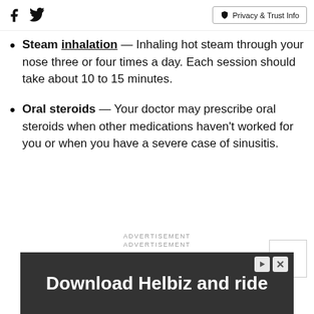Facebook Twitter | Privacy & Trust Info
Steam inhalation — Inhaling hot steam through your nose three or four times a day. Each session should take about 10 to 15 minutes.
Oral steroids — Your doctor may prescribe oral steroids when other medications haven't worked for you or when you have a severe case of sinusitis.
ADVERTISEMENT
ADVERTISEMENT
[Figure (screenshot): Advertisement banner: Download Helbiz and ride — dark background with person holding scooter handlebar]